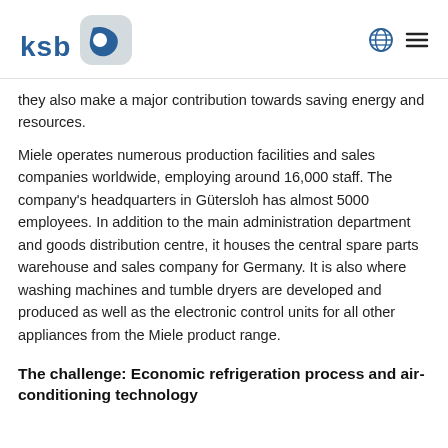[Figure (logo): KSB logo with stylized blue icon and 'ksb' text]
they also make a major contribution towards saving energy and resources.
Miele operates numerous production facilities and sales companies worldwide, employing around 16,000 staff. The company's headquarters in Gütersloh has almost 5000 employees. In addition to the main administration department and goods distribution centre, it houses the central spare parts warehouse and sales company for Germany. It is also where washing machines and tumble dryers are developed and produced as well as the electronic control units for all other appliances from the Miele product range.
The challenge: Economic refrigeration process and air-conditioning technology